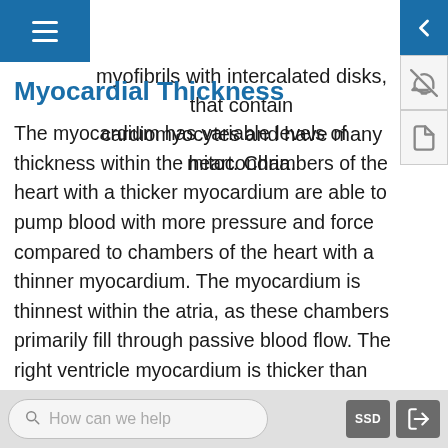uscle contains sarcomeres that are made of myofibrils with intercalated disks, that contain cardiomyocytes and have many mitocondria.
Myocardial Thickness
The myocardium has variable levels of thickness within the heart. Chambers of the heart with a thicker myocardium are able to pump blood with more pressure and force compared to chambers of the heart with a thinner myocardium. The myocardium is thinnest within the atria, as these chambers primarily fill through passive blood flow. The right ventricle myocardium is thicker than the atrial myocardium, as this muscle must pump all blood returning to the heart into the lungs for oxygenation. The myocardium is